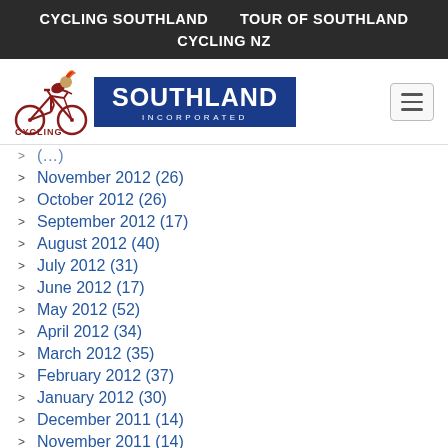CYCLING SOUTHLAND    TOUR OF SOUTHLAND
CYCLING NZ
[Figure (logo): Cycling Southland Incorporated logo with cyclist illustration and blue badge reading SOUTHLAND INCORPORATED]
November 2012 (26)
October 2012 (26)
September 2012 (17)
August 2012 (40)
July 2012 (31)
June 2012 (17)
May 2012 (52)
April 2012 (34)
March 2012 (35)
February 2012 (37)
January 2012 (30)
December 2011 (14)
November 2011 (14)
October 2011 (25)